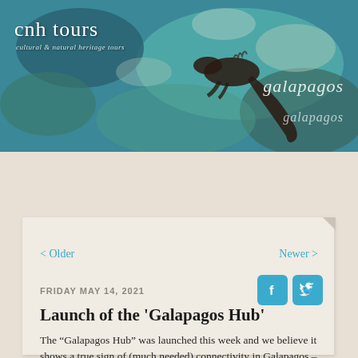[Figure (photo): CNH Tours website header banner with aerial/underwater photo of marine iguana in Galapagos waters (teal/green tones). Logo text 'cnh tours' and tagline 'cultural & natural heritage tours' on the left. 'galapagos' text appears twice on the right side in italic white.]
cnh tours
cultural & natural heritage tours
galapagos
galapagos
[Figure (screenshot): Teal navigation bar with white hamburger menu icon (three horizontal lines) centered.]
< Older
Newer >
FRIDAY MAY 14, 2021
Launch of the 'Galapagos Hub'
The "Galapagos Hub" was launched this week and we believe it shows a true sign of (much needed) connectivity in Galapagos – both connecting on an